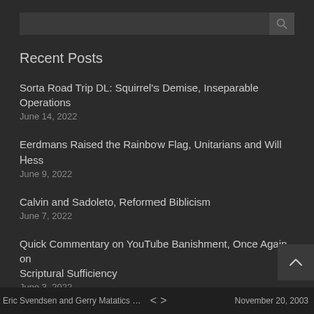Recent Posts
Sorta Road Trip DL: Squirrel's Demise, Inseparable Operations
June 14, 2022
Eerdmans Raised the Rainbow Flag, Unitarians and Will Hess
June 9, 2022
Calvin and Sadoleto, Reformed Biblicism
June 7, 2022
Quick Commentary on YouTube Banishment, Once Again on Scriptural Sufficiency
June 3, 2022
You are Being Lied to, Regularly
June 1, 2022
Eric Svendsen and Gerry Matatics …   <   >   November 20, 2003